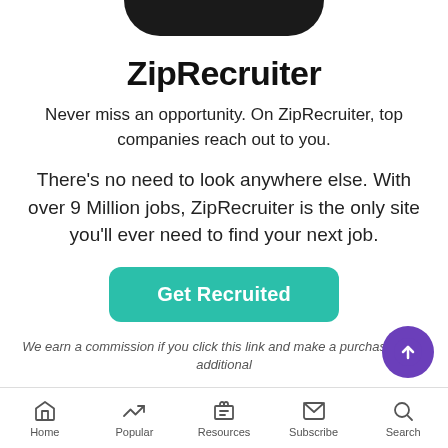[Figure (logo): ZipRecruiter logo arc/header image cropped at top]
ZipRecruiter
Never miss an opportunity. On ZipRecruiter, top companies reach out to you.
There's no need to look anywhere else. With over 9 Million jobs, ZipRecruiter is the only site you'll ever need to find your next job.
[Figure (other): Get Recruited teal CTA button]
We earn a commission if you click this link and make a purchase at no additional cost to you.
Home   Popular   Resources   Subscribe   Search